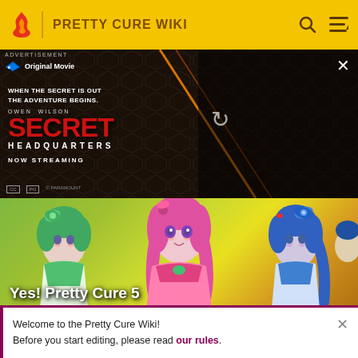PRETTY CURE WIKI
[Figure (screenshot): Advertisement banner for 'Secret Headquarters' Paramount Original Movie, now streaming. Text: WHEN THE SECRET IS OUT THE ADVENTURE BEGINS. OWEN WILSON SECRET HEADQUARTERS NOW STREAMING.]
[Figure (screenshot): Anime screenshot showing Yes! Pretty Cure 5 characters - three anime girls in magical girl outfits with pink, green, and blue hair on a colorful background.]
Yes! Pretty Cure 5
Welcome to the Pretty Cure Wiki! Before you start editing, please read our rules.